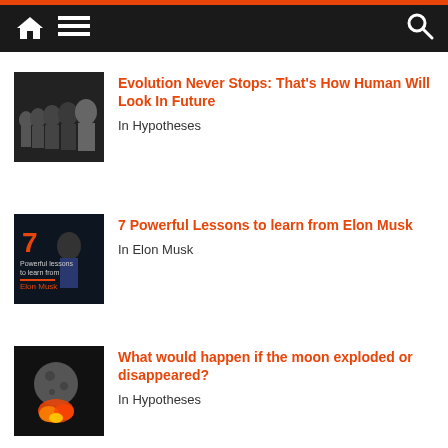Navigation bar with home, menu, and search icons
Evolution Never Stops: That's How Human Will Look In Future | In Hypotheses
7 Powerful Lessons to learn from Elon Musk | In Elon Musk
What would happen if the moon exploded or disappeared? | In Hypotheses